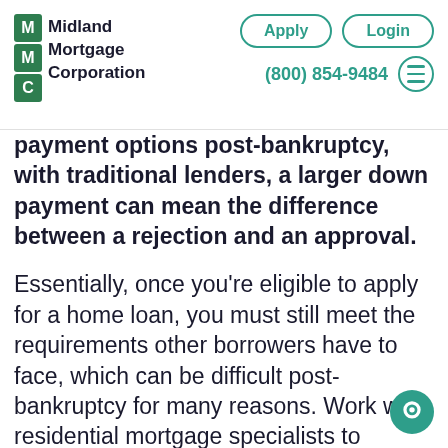[Figure (logo): Midland Mortgage Corporation logo with green M, M, C grid and company name text]
payment options post-bankruptcy, with traditional lenders, a larger down payment can mean the difference between a rejection and an approval.
Essentially, once you're eligible to apply for a home loan, you must still meet the requirements other borrowers have to face, which can be difficult post-bankruptcy for many reasons. Work with residential mortgage specialists to increase your chances of success.
Learn more about common lending